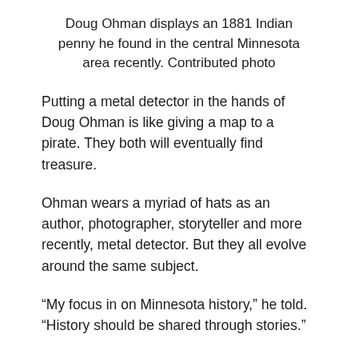Doug Ohman displays an 1881 Indian penny he found in the central Minnesota area recently. Contributed photo
Putting a metal detector in the hands of Doug Ohman is like giving a map to a pirate. They both will eventually find treasure.
Ohman wears a myriad of hats as an author, photographer, storyteller and more recently, metal detector. But they all evolve around the same subject.
“My focus in on Minnesota history,” he told. “History should be shared through stories.”